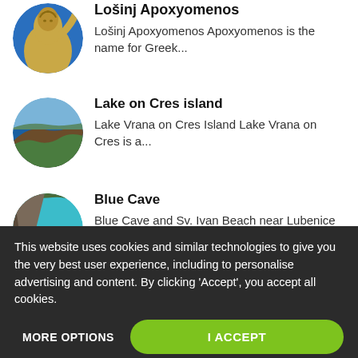Lošinj Apoxyomenos — Lošinj Apoxyomenos Apoxyomenos is the name for Greek...
Lake on Cres island — Lake Vrana on Cres Island Lake Vrana on Cres is a...
Blue Cave — Blue Cave and Sv. Ivan Beach near Lubenice The Blue...
This website uses cookies and similar technologies to give you the very best user experience, including to personalise advertising and content. By clicking 'Accept', you accept all cookies.
MORE OPTIONS
I ACCEPT